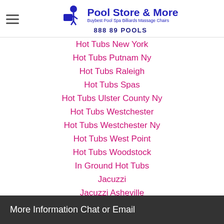Pool Store & More — Buybest Pool Spa Billiards Massage Chairs — 888 89 POOLS
Hot Tubs New York
Hot Tubs Putnam Ny
Hot Tubs Raleigh
Hot Tubs Spas
Hot Tubs Ulster County Ny
Hot Tubs Westchester
Hot Tubs Westchester Ny
Hot Tubs West Point
Hot Tubs Woodstock
In Ground Hot Tubs
Jacuzzi
Jacuzzi Asheville
Jacuzziatlanta
Jacuzzi Benson
Jacuzzi Charlotte
More Information Chat or Email